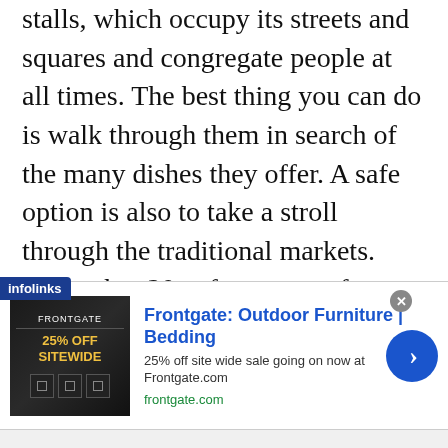stalls, which occupy its streets and squares and congregate people at all times. The best thing you can do is walk through them in search of the many dishes they offer. A safe option is also to take a stroll through the traditional markets. November 20, a few meters from the Zócalo, is the most popular, but you can also visit others such as La Merced, or Benito Juárez.
During this gastronomic tour, you must keep in mind that in this land corn is the king the territory of Oaxaca has more types of corn than any other - and many of the elaborations you will find in the
[Figure (other): Advertisement banner: Frontgate Outdoor Furniture | Bedding. 25% off site wide sale going on now at Frontgate.com. frontgate.com. Shows an ad image with '25% OFF SITEWIDE' text on dark background. Blue circular arrow button on right. Infolinks label bottom-left. Close button top-right.]